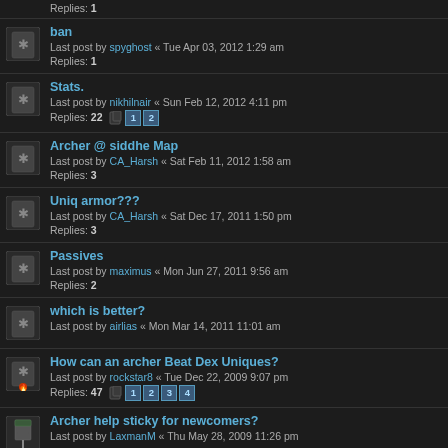Replies: 1
ban
Last post by spyghost « Tue Apr 03, 2012 1:29 am
Replies: 1
Stats.
Last post by nikhilnair « Sun Feb 12, 2012 4:11 pm
Replies: 22 [pages: 1 2]
Archer @ siddhe Map
Last post by CA_Harsh « Sat Feb 11, 2012 1:58 am
Replies: 3
Uniq armor???
Last post by CA_Harsh « Sat Dec 17, 2011 1:50 pm
Replies: 3
Passives
Last post by maximus « Mon Jun 27, 2011 9:56 am
Replies: 2
which is better?
Last post by airlias « Mon Mar 14, 2011 11:01 am
How can an archer Beat Dex Uniques?
Last post by rockstar8 « Tue Dec 22, 2009 9:07 pm
Replies: 47 [pages: 1 2 3 4]
Archer help sticky for newcomers?
Last post by LaxmanM « Thu May 28, 2009 11:26 pm